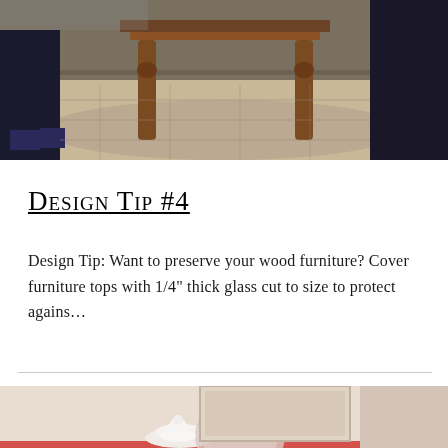[Figure (photo): Top photo showing a wooden table with ornate legs on a patterned rug, with two people in dark clothing partially visible on either side]
Design Tip #4
Design Tip: Want to preserve your wood furniture? Cover furniture tops with 1/4" thick glass cut to size to protect agains…
[Figure (photo): Bottom photo showing a red/coral painted dresser or furniture piece with white decorative items on top including a dish and figurine, with floral fabric visible in background]